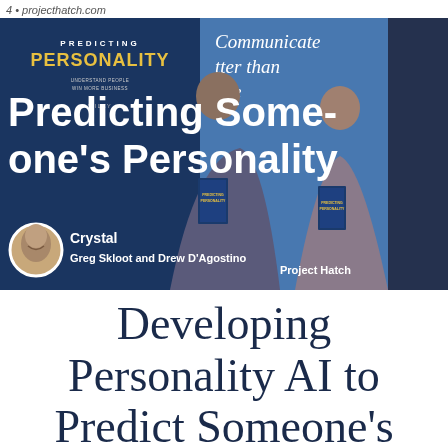4 • projecthatch.com
[Figure (photo): Photo of two men standing in front of a 'Predicting Personality' book banner. Text overlay reads 'Predicting Someone's Personality'. Below the photo, labels read 'Crystal', 'Greg Skloot and Drew D'Agostino', and 'Project Hatch'. A circular avatar portrait appears bottom left of the image.]
Developing Personality AI to Predict Someone's